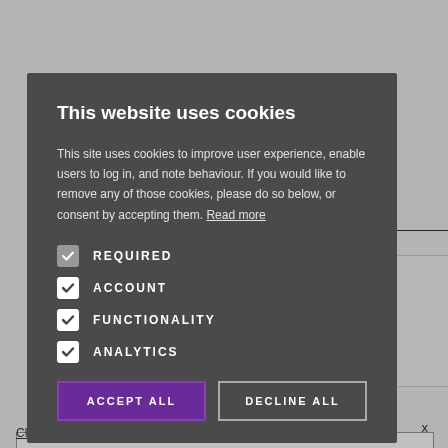[Figure (screenshot): Cookie consent modal dialog overlaid on a webpage. The modal has a dark gray background and contains: title 'This website uses cookies', explanatory text about cookie usage with a 'Read more' link, four checkboxes (REQUIRED, ACCOUNT, FUNCTIONALITY, ANALYTICS) all checked, and two buttons: 'ACCEPT ALL' (purple) and 'DECLINE ALL' (outlined). Behind the modal, partially visible webpage content shows text fragments including 'OTHER ACTIVE THREADS', partial sentences, and a 'Click here to read our Privacy Policy' footer link.]